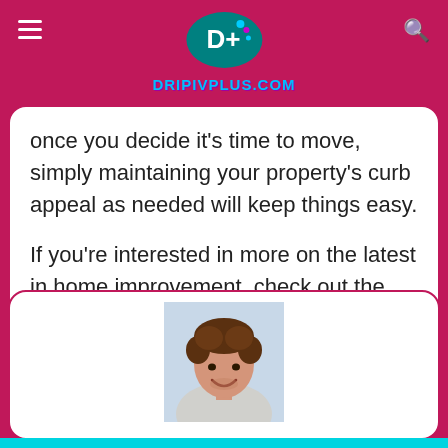DRIPIVPLUS.COM
When you've added curb appeal to your property, you not only add value to your home, but you make it easier to sell later down the line. Rather than working for weeks on end once you decide it's time to move, simply maintaining your property's curb appeal as needed will keep things easy.
If you're interested in more on the latest in home improvement, check out the rest of our blog.
[Figure (photo): Circular portrait photo of a smiling man with curly dark hair, named Albert]
Albert